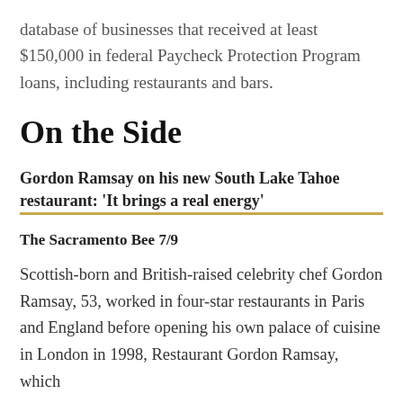database of businesses that received at least $150,000 in federal Paycheck Protection Program loans, including restaurants and bars.
On the Side
Gordon Ramsay on his new South Lake Tahoe restaurant: ‘It brings a real energy’
The Sacramento Bee 7/9
Scottish-born and British-raised celebrity chef Gordon Ramsay, 53, worked in four-star restaurants in Paris and England before opening his own palace of cuisine in London in 1998, Restaurant Gordon Ramsay, which